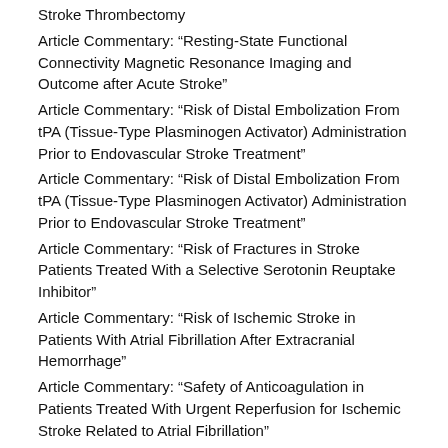Stroke Thrombectomy
Article Commentary: “Resting-State Functional Connectivity Magnetic Resonance Imaging and Outcome after Acute Stroke”
Article Commentary: “Risk of Distal Embolization From tPA (Tissue-Type Plasminogen Activator) Administration Prior to Endovascular Stroke Treatment”
Article Commentary: “Risk of Distal Embolization From tPA (Tissue-Type Plasminogen Activator) Administration Prior to Endovascular Stroke Treatment”
Article Commentary: “Risk of Fractures in Stroke Patients Treated With a Selective Serotonin Reuptake Inhibitor”
Article Commentary: “Risk of Ischemic Stroke in Patients With Atrial Fibrillation After Extracranial Hemorrhage”
Article Commentary: “Safety of Anticoagulation in Patients Treated With Urgent Reperfusion for Ischemic Stroke Related to Atrial Fibrillation”
Article Commentary: “Sex Difference and Rupture Rate of Intracranial Aneurysms”
Article Commentary: “Sex Differences in Management and Outcomes of Acute Ischemic Stroke With Large Vessel Occlusion”
Article Commentary: “Sex Differences in Management and Outcomes of Acute Ischemic Stroke With Large Vessel Occlusion”
Article Commentary: “Sex Differences in Plaque Composition and Morphology Among Symptomatic Patients With Mild-To-Moderate Carotid